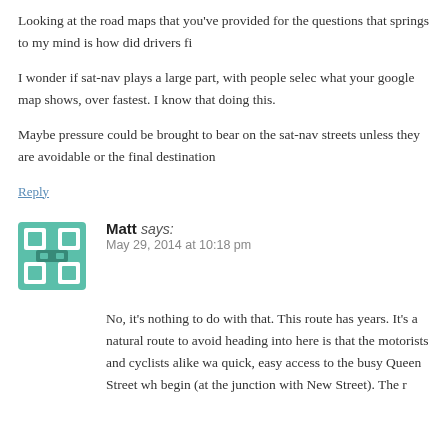Looking at the road maps that you've provided for the questions that springs to my mind is how did drivers fi
I wonder if sat-nav plays a large part, with people selec what your google map shows, over fastest. I know that doing this.
Maybe pressure could be brought to bear on the sat-nav streets unless they are avoidable or the final destination
Reply
Matt says:
May 29, 2014 at 10:18 pm
No, it's nothing to do with that. This route has years. It's a natural route to avoid heading into here is that the motorists and cyclists alike wa quick, easy access to the busy Queen Street wh begin (at the junction with New Street). The r